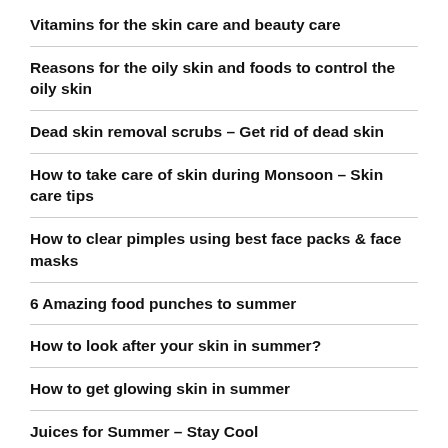Vitamins for the skin care and beauty care
Reasons for the oily skin and foods to control the oily skin
Dead skin removal scrubs – Get rid of dead skin
How to take care of skin during Monsoon – Skin care tips
How to clear pimples using best face packs & face masks
6 Amazing food punches to summer
How to look after your skin in summer?
How to get glowing skin in summer
Juices for Summer – Stay Cool